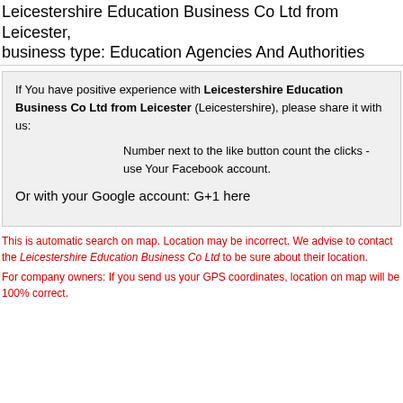Leicestershire Education Business Co Ltd from Leicester, business type: Education Agencies And Authorities
If You have positive experience with Leicestershire Education Business Co Ltd from Leicester (Leicestershire), please share it with us:

Number next to the like button count the clicks - use Your Facebook account.

Or with your Google account: G+1 here
This is automatic search on map. Location may be incorrect. We advise to contact the Leicestershire Education Business Co Ltd to be sure about their location.
For company owners: If you send us your GPS coordinates, location on map will be 100% correct.